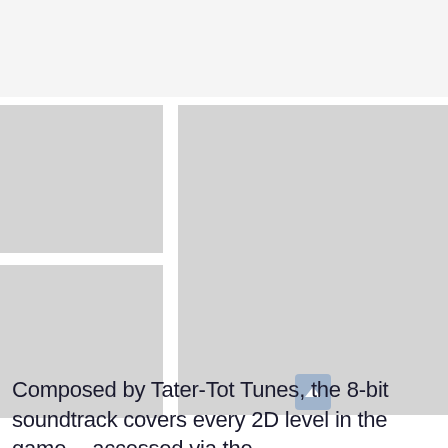[Figure (photo): Top-left placeholder image (grey rectangle)]
[Figure (photo): Bottom-left placeholder image (grey rectangle)]
[Figure (photo): Right large placeholder image (grey rectangle)]
Composed by Tater-Tot Tunes, the 8-bit soundtrack covers every 2D level in the game -- accessed via the